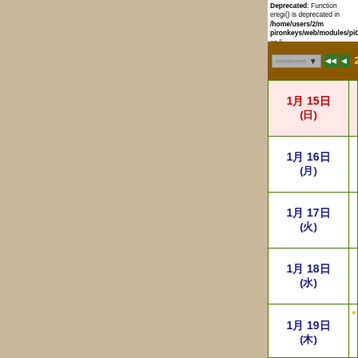Deprecated: Function eregi() is deprecated in /home/users/2/m/pironkeys/web/modules/piCal/include/patTemplate.php on li
2017年 1月 ○3週
| Date | Events |
| --- | --- |
| 1月 15日 (日) |  |
| 1月 16日 (月) |  |
| 1月 17日 (火) |  |
| 1月 18日 (水) |  |
| 1月 19日 (木) | 09時 00分〜17時 00分 ○○○○○○○○○○○○ |